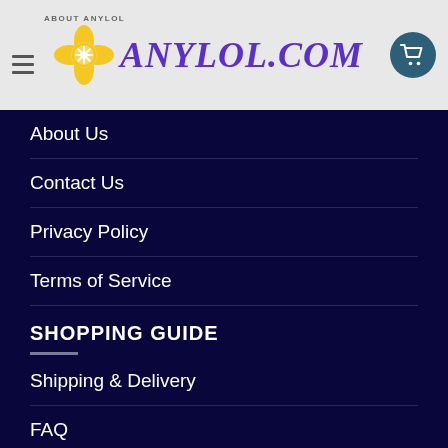ABOUT ANYLOL — ANYLOL.COM
About Us
Contact Us
Privacy Policy
Terms of Service
SHOPPING GUIDE
Shipping & Delivery
FAQ
Track your order
Refund Policy